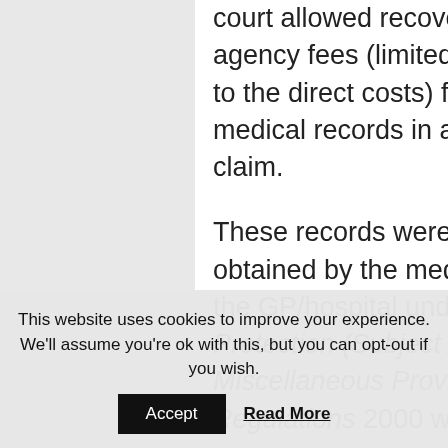court allowed recovery of medical agency fees (limited to £30 in addition to the direct costs) for obtaining medical records in an EL/PL Portal claim.
These records were presumably obtained by the medial agency from the GP/hospital under the Data Protection (Subject Access) (Fees and Miscellaneous Provisions) Regulations 2000 which prescribe a
This website uses cookies to improve your experience. We'll assume you're ok with this, but you can opt-out if you wish.